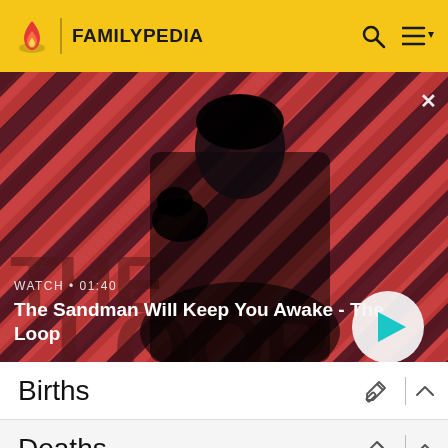FAMILYPEDIA
[Figure (screenshot): Video thumbnail showing a dark-clothed figure with a raven on shoulder against red diagonal striped background. Title overlay: 'The Sandman Will Keep You Awake - The Loop'. Watch duration: 01:40. Play button visible.]
Births
Deaths